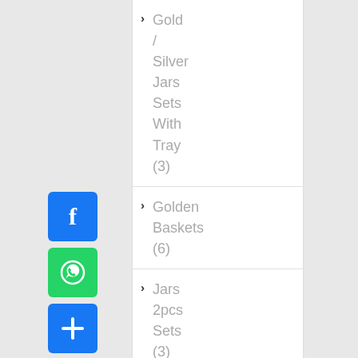[Figure (logo): Facebook share button - blue square with white F icon]
[Figure (logo): WhatsApp share button - green square with white speech bubble phone icon]
[Figure (logo): More share button - blue square with white plus icon]
› Gold / Silver Jars Sets With Tray (3)
› Golden Baskets (6)
› Jars 2pcs Sets (3)